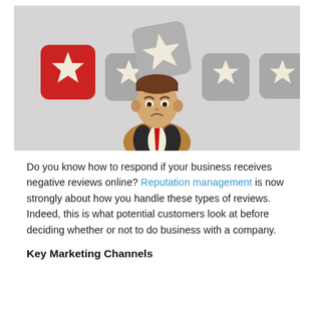[Figure (illustration): Illustration of a sad cartoon businessman in a vest and red tie, with five star-rating tiles above him. The leftmost star tile is red/filled, and the remaining four are grey/unfilled, indicating a 1-out-of-5 star rating. The background is light grey.]
Do you know how to respond if your business receives negative reviews online? Reputation management is now strongly about how you handle these types of reviews. Indeed, this is what potential customers look at before deciding whether or not to do business with a company.
Key Marketing Channels